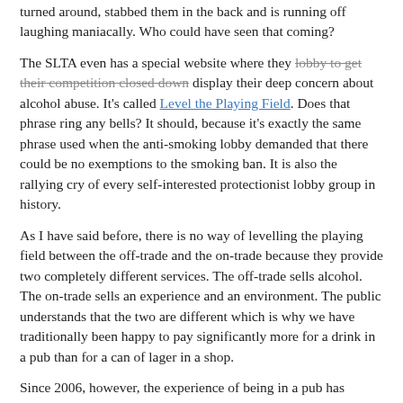turned around, stabbed them in the back and is running off laughing maniacally. Who could have seen that coming?
The SLTA even has a special website where they lobby to get their competition closed down display their deep concern about alcohol abuse. It's called Level the Playing Field. Does that phrase ring any bells? It should, because it's exactly the same phrase used when the anti-smoking lobby demanded that there could be no exemptions to the smoking ban. It is also the rallying cry of every self-interested protectionist lobby group in history.
As I have said before, there is no way of levelling the playing field between the off-trade and the on-trade because they provide two completely different services. The off-trade sells alcohol. The on-trade sells an experience and an environment. The public understands that the two are different which is why we have traditionally been happy to pay significantly more for a drink in a pub than for a can of lager in a shop.
Since 2006, however, the experience of being in a pub has